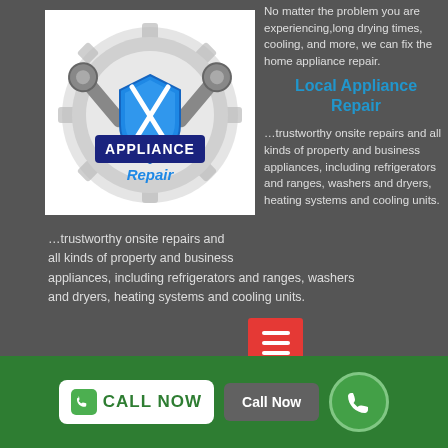[Figure (logo): Appliance Repair logo with two crossed wrenches, a shield, and gear, text reads APPLIANCE Repair]
No matter the problem you are experiencing, long drying times, cooling, and more, we can fix the home appliance repair. Local Appliance Repair. Trustworthy onsite repairs and all kinds of property and business appliances, including refrigerators and ranges, washers and dryers, heating systems and cooling units.
Washing Machine Repairs In Mickleham
No matter how well you maintain it, there will likely come a time when you need washing machine repair work in Mickleham. A washing machine makes it very easy to tidy clothing, however like any home appliance, it can get damaged and will stop working. We are a quality provider
CALL NOW  Call Now